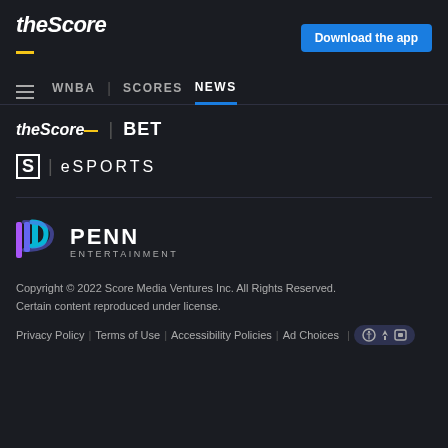theScore | Download the app
WNBA | SCORES NEWS
[Figure (logo): theScore BET logo and theScore Esports logo]
[Figure (logo): Penn Entertainment logo with colorful P icon]
Copyright © 2022 Score Media Ventures Inc. All Rights Reserved. Certain content reproduced under license.
Privacy Policy | Terms of Use | Accessibility Policies | Ad Choices | [accessibility icon]